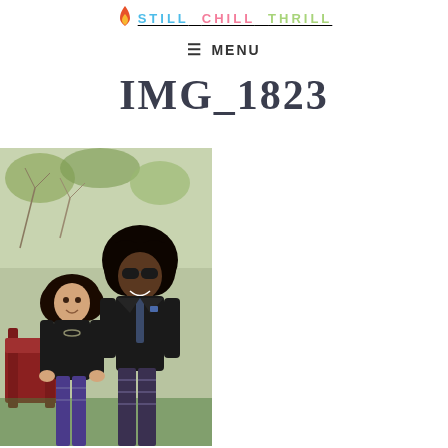STILL CHILL THRILL
≡ MENU
IMG_1823
[Figure (photo): Two people posing together outdoors. A woman with curly hair wearing a black top and patterned pants, and a tall man with an afro and sunglasses wearing a black suit jacket and patterned pants.]